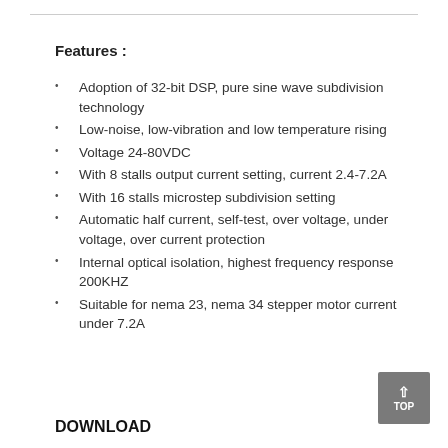Features :
Adoption of 32-bit DSP, pure sine wave subdivision technology
Low-noise, low-vibration and low temperature rising
Voltage 24-80VDC
With 8 stalls output current setting, current 2.4-7.2A
With 16 stalls microstep subdivision setting
Automatic half current, self-test, over voltage, under voltage, over current protection
Internal optical isolation, highest frequency response 200KHZ
Suitable for nema 23, nema 34 stepper motor current under 7.2A
DOWNLOAD